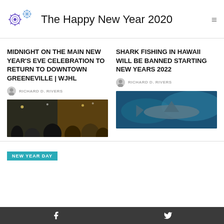The Happy New Year 2020
MIDNIGHT ON THE MAIN NEW YEAR'S EVE CELEBRATION TO RETURN TO DOWNTOWN GREENEVILLE | WJHL
RICHARD D. RIVERS
[Figure (photo): Crowd gathered at night for New Year's Eve celebration downtown]
SHARK FISHING IN HAWAII WILL BE BANNED STARTING NEW YEARS 2022
RICHARD D. RIVERS
[Figure (photo): Shark swimming underwater in blue ocean water]
NEW YEAR DAY
Facebook Twitter